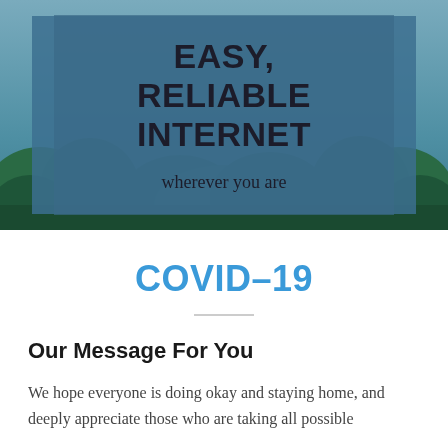[Figure (photo): Hero banner with forest/nature background and semi-transparent blue overlay containing text 'EASY, RELIABLE INTERNET wherever you are']
COVID-19
Our Message For You
We hope everyone is doing okay and staying home, and deeply appreciate those who are taking all possible